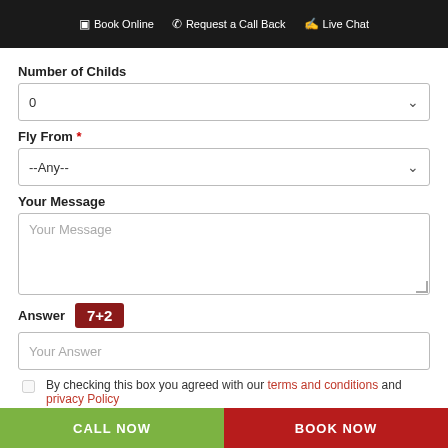Book Online  Request a Call Back  Live Chat
Number of Childs
0  (dropdown)
Fly From *
--Any--  (dropdown)
Your Message
Your Message (textarea placeholder)
Answer  7+2
Your Answer (input placeholder)
By checking this box you agreed with our terms and conditions and privacy Policy
You are agreed to the use of Cookies.
ok
CALL NOW
BOOK NOW